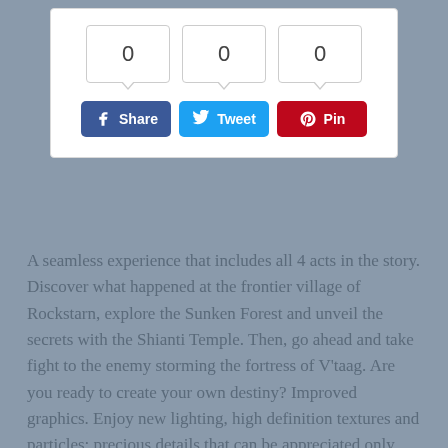[Figure (infographic): Social share widget with three counter boxes each showing 0, and three social buttons: Facebook Share (blue), Twitter Tweet (light blue), Pinterest Pin (dark red)]
A seamless experience that includes all 4 acts in the story. Discover what happened at the frontier village of Rockstarn, explore the Sunken Forest and unveil the secrets with the Shianti Temple. Then, go ahead and take fight to the enemy storming the fortress of V'taag. Are you ready to create your own destiny? Improved graphics. Enjoy new lighting, high definition textures and particles: precious details that can be appreciated only with this HD Remastered version. A brand-new Gallery which includes both pre-production artwork and 3D models. Discover how the designers along with the artists came up with game world!
Super Refocus easily defines an importance area